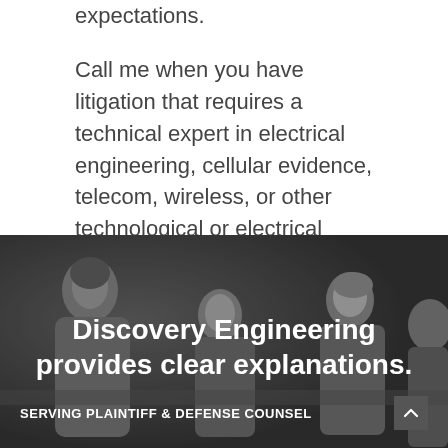expectations.
Call me when you have litigation that requires a technical expert in electrical engineering, cellular evidence, telecom, wireless, or other technological or electrical phenomena.
[Figure (photo): Grayscale photo of several people gathered around a table in a meeting or consultation setting, with a person on the left appearing to speak or present.]
Discovery Engineering provides clear explanations.
SERVING PLAINTIFF & DEFENSE COUNSEL